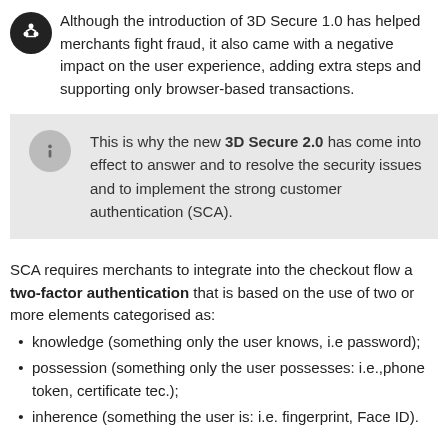Although the introduction of 3D Secure 1.0 has helped merchants fight fraud, it also came with a negative impact on the user experience, adding extra steps and supporting only browser-based transactions.
This is why the new 3D Secure 2.0 has come into effect to answer and to resolve the security issues and to implement the strong customer authentication (SCA).
SCA requires merchants to integrate into the checkout flow a two-factor authentication that is based on the use of two or more elements categorised as:
knowledge (something only the user knows, i.e password);
possession (something only the user possesses: i.e.,phone token, certificate tec.);
inherence (something the user is: i.e. fingerprint, Face ID).